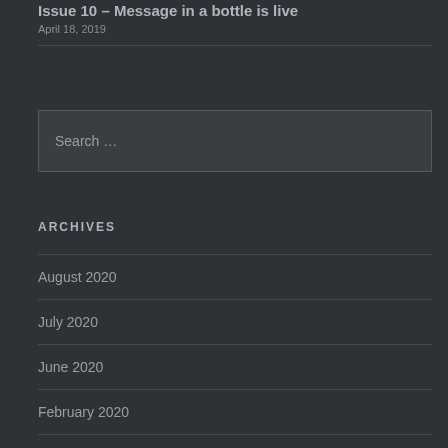Issue 10 – Message in a bottle is live
April 18, 2019
Search …
ARCHIVES
August 2020
July 2020
June 2020
February 2020
October 2019